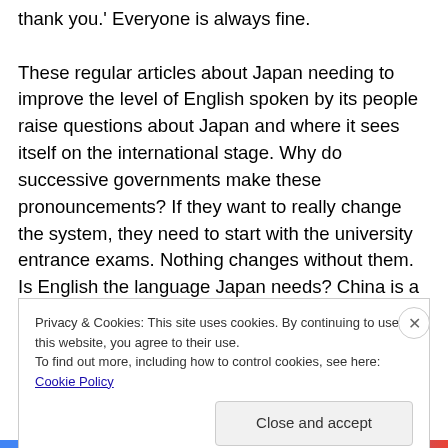thank you.' Everyone is always fine.

These regular articles about Japan needing to improve the level of English spoken by its people raise questions about Japan and where it sees itself on the international stage. Why do successive governments make these pronouncements? If they want to really change the system, they need to start with the university entrance exams. Nothing changes without them. Is English the language Japan needs? China is a near neighbour, as is South Korea. Why are those languages not taught more?
Privacy & Cookies: This site uses cookies. By continuing to use this website, you agree to their use.
To find out more, including how to control cookies, see here: Cookie Policy